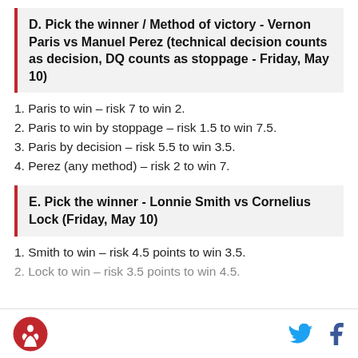D. Pick the winner / Method of victory - Vernon Paris vs Manuel Perez (technical decision counts as decision, DQ counts as stoppage - Friday, May 10)
1. Paris to win – risk 7 to win 2.
2. Paris to win by stoppage – risk 1.5 to win 7.5.
3. Paris by decision – risk 5.5 to win 3.5.
4. Perez (any method) – risk 2 to win 7.
E. Pick the winner - Lonnie Smith vs Cornelius Lock (Friday, May 10)
1. Smith to win – risk 4.5 points to win 3.5.
2. Lock to win – risk 3.5 points to win 4.5.